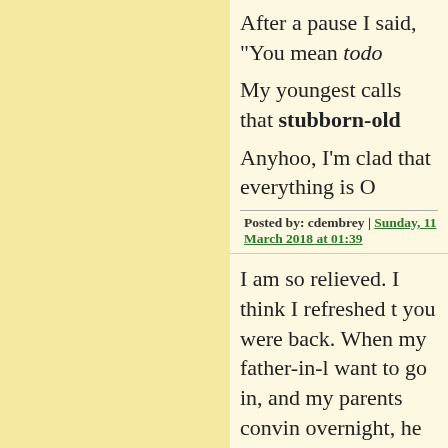After a pause I said, "You mean todo
My youngest calls that stubborn-old
Anyhoo, I'm clad that everything is O
Posted by: cdembrey | Sunday, 11 March 2018 at 01:39
I am so relieved. I think I refreshed the page a hundred times until you were back. When my father-in-law had his surgery he didn't want to go in, and my parents convinced him to wait until overnight, he had an emergency quad bypass. They were glad they went in, but they found another blockage. Thankfully still here.
I'm glad to read it sounds like are, to take a break from typing for a few days.
Posted by: RubyT | Sunday, 11 March 2018 at 04:18 AM
Wish I could be of any help. Take ca